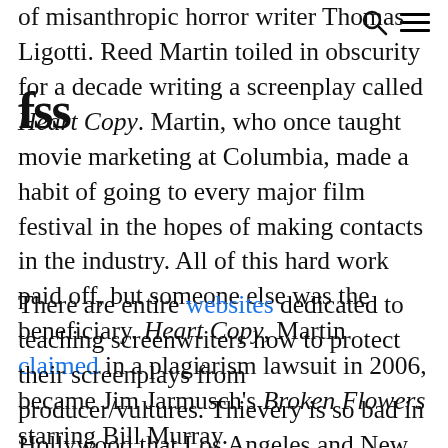of misanthropic horror writer Thomas Ligotti. Reed Martin toiled in obscurity for a decade writing a screenplay called Heart Copy. Martin, who once taught movie marketing at Columbia, made a habit of going to every major film festival in the hopes of making contacts in the industry. All of this hard work paid off, but someone else was the beneficiary. Heart Copy, Martin claimed in a plagiarism lawsuit in 2006, became Jim Jarmusch's Broken Flowers starring Bill Murray.
There are entire websites dedicated to teaching screenwriters how to protect their screenplays from producer/vultures. Thievery is so bad in Hollywood that Los Angeles and New York-based attorneys who specialize in combatting theft in the entertainment industry are some of the wealthiest lawyers in the country. Thanks to the internet and the omnipresent potential for piracy, screenwriters, novelists, and other creative workers have to be more vigilant than ever.